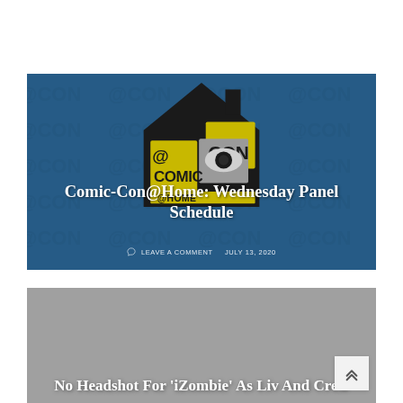[Figure (photo): Comic-Con@Home banner image with blue background featuring repeating '@CON' pattern. Center shows the Comic-Con@Home logo (house silhouette with an eye graphic). Title overlay reads 'Comic-Con@Home: Wednesday Panel Schedule'. Below the title: speech bubble icon, 'LEAVE A COMMENT', and date 'JULY 13, 2020'.]
Comic-Con@Home: Wednesday Panel Schedule
LEAVE A COMMENT   JULY 13, 2020
[Figure (photo): Gray placeholder image card for the iZombie article with partial title text visible at the bottom. A scroll-to-top button (double chevron up) appears in the bottom-right corner.]
No Headshot For 'iZombie' As Liv And Crew